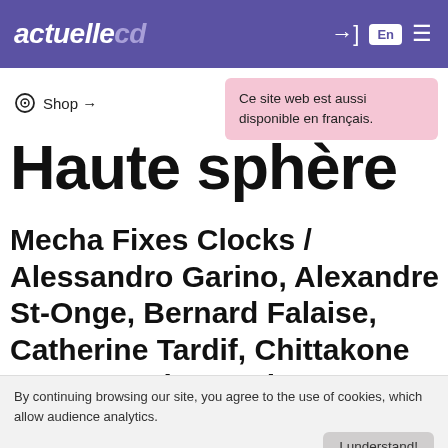actuellecd | En
Ce site web est aussi disponible en français.
Shop →
Haute sphère
Mecha Fixes Clocks / Alessandro Garino, Alexandre St-Onge, Bernard Falaise, Catherine Tardif, Chittakone Baccam, Diane Labrosse, Guido Del Fabbro, Jean René, Joane
By continuing browsing our site, you agree to the use of cookies, which allow audience analytics.